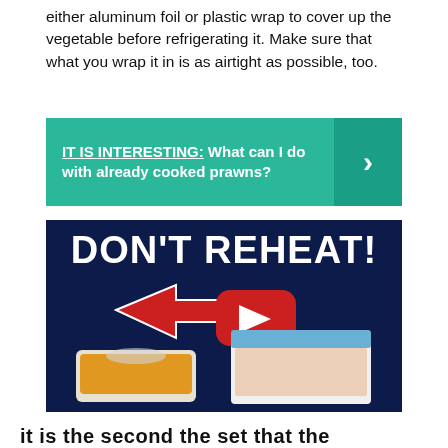either aluminum foil or plastic wrap to cover up the vegetable before refrigerating it. Make sure that what you wrap it in is as airtight as possible, too.
IT IS INTERESTING:  What can I do with already cooked prawns?
[Figure (screenshot): Video thumbnail with dark blue background showing text DON'T REHEAT! in large white bold letters, a red arrow pointing to a YouTube play button, and food storage containers with leftovers]
it is the second the set that the